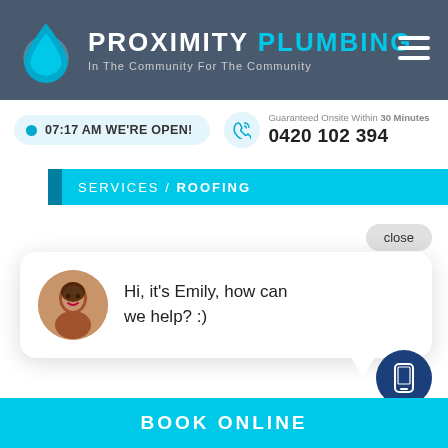PROXIMITY PLUMBING — In The Community For The Community
07:17 AM WE'RE OPEN!
Guaranteed Onsite Within 30 Minutes
0420 102 394
SERVICES / ROOFING
close
Hi, it's Emily, how can we help? :)
BOOK ONLINE